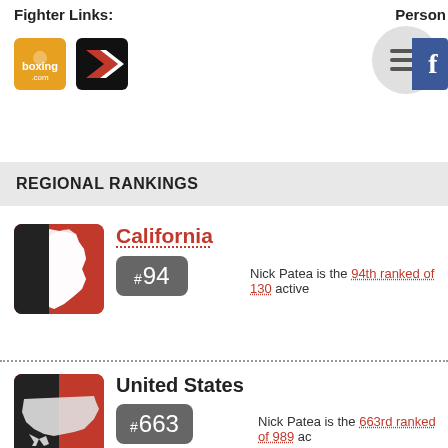Fighter Links:
REGIONAL RANKINGS
California — #94 — Nick Patea is the 94th ranked of 130 active
United States — #663 — Nick Patea is the 663rd ranked of 989 ac
Latin America — #359 — Nick Patea is the 359th ranked of 660 ac